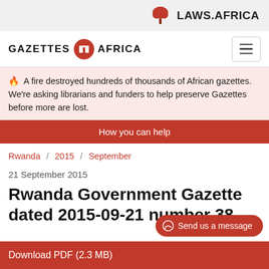LAWS.AFRICA
GAZETTES AFRICA
🔥  A fire destroyed hundreds of thousands of African gazettes. We're asking librarians and funders to help preserve Gazettes before more are lost.
How you can help
Rwanda / 2015 / September
21 September 2015
Rwanda Government Gazette dated 2015-09-21 number 38
Download PDF (2.3 MB)
Send us a message